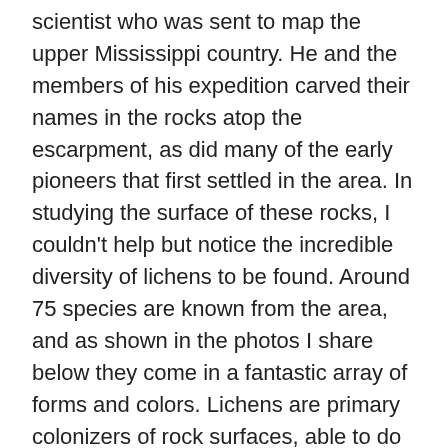scientist who was sent to map the upper Mississippi country. He and the members of his expedition carved their names in the rocks atop the escarpment, as did many of the early pioneers that first settled in the area. In studying the surface of these rocks, I couldn't help but notice the incredible diversity of lichens to be found. Around 75 species are known from the area, and as shown in the photos I share below they come in a fantastic array of forms and colors. Lichens are primary colonizers of rock surfaces, able to do so as a result of their nutritional autonomy. Lichens are merely fungi that have evolved a specialised mode of nutrition: symbiosis with photosynthetic microalgae or cyanobacteria. Often, the algal component is capable of fixing nitrogen from the atmosphere, while the fungal organism attacks the rock with organic acids to release minerals. This is the basis of soil formation. Over time,